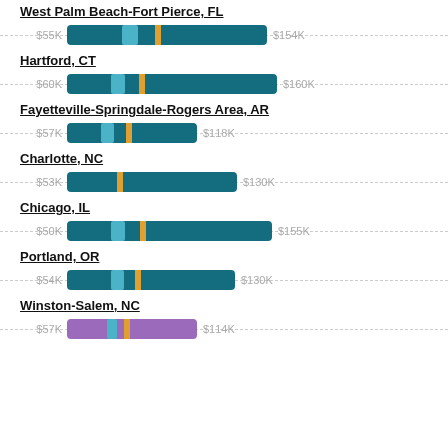West Palm Beach-Fort Pierce, FL
[Figure (bar-chart): West Palm Beach-Fort Pierce, FL salary range]
Hartford, CT
[Figure (bar-chart): Hartford, CT salary range]
Fayetteville-Springdale-Rogers Area, AR
[Figure (bar-chart): Fayetteville-Springdale-Rogers Area, AR salary range]
Charlotte, NC
[Figure (bar-chart): Charlotte, NC salary range]
Chicago, IL
[Figure (bar-chart): Chicago, IL salary range]
Portland, OR
[Figure (bar-chart): Portland, OR salary range]
Winston-Salem, NC
[Figure (bar-chart): Winston-Salem, NC salary range]